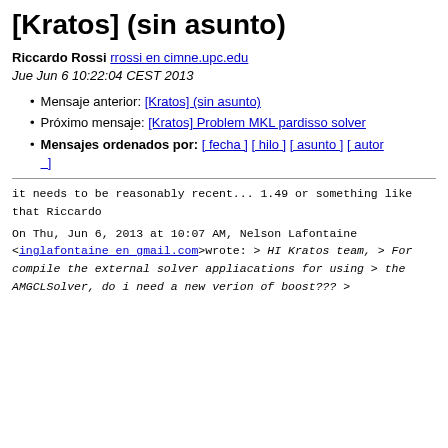[Kratos] (sin asunto)
Riccardo Rossi rrossi en cimne.upc.edu
Jue Jun 6 10:22:04 CEST 2013
Mensaje anterior: [Kratos] (sin asunto)
Próximo mensaje: [Kratos] Problem MKL pardisso solver
Mensajes ordenados por: [ fecha ] [ hilo ] [ asunto ] [ autor ]
it needs to be reasonably recent...

1.49 or something like that

Riccardo
On Thu, Jun 6, 2013 at 10:07 AM, Nelson Lafontaine <inglafontaine en gmail.com>wrote:

> HI Kratos team,
> For compile the external solver appliacations for using
> the AMGCLSolver, do i need a new verion of boost???
>